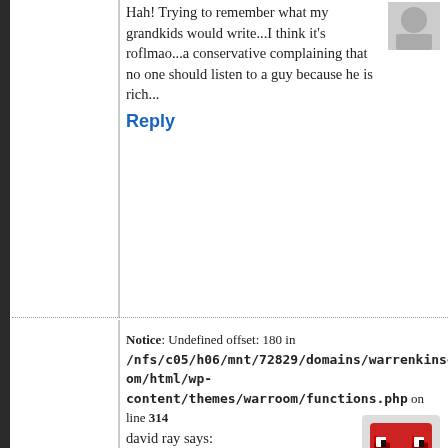Hah! Trying to remember what my grandkids would write...I think it's roflmao...a conservative complaining that no one should listen to a guy because he is rich...
Reply
Notice: Undefined offset: 180 in /nfs/c05/h06/mnt/72829/domains/warrenkinsella.com/html/wp-content/themes/warroom/functions.php on line 314
david ray says:
January 14, 2014 at 5:13 pm
Al, Lloyd Blankfein chief Vampire Squid of Goldman Sachs called. Says he absolutely loves guys like you.
http://www.telegraph.co.uk/finance/newsbysector/banksandfinance/8146240/Goldman-Sachs-in-quotes-from-Vampire-Squid-to-Fabulous-Fab.html